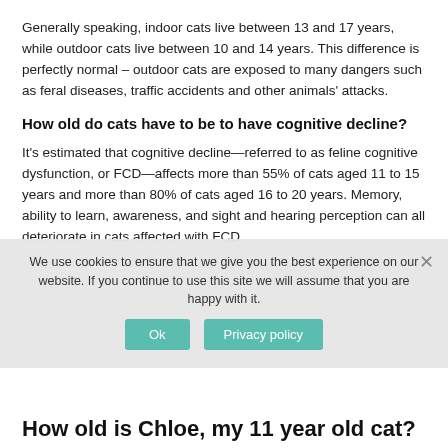Generally speaking, indoor cats live between 13 and 17 years, while outdoor cats live between 10 and 14 years. This difference is perfectly normal – outdoor cats are exposed to many dangers such as feral diseases, traffic accidents and other animals' attacks.
How old do cats have to be to have cognitive decline?
It's estimated that cognitive decline—referred to as feline cognitive dysfunction, or FCD—affects more than 55% of cats aged 11 to 15 years and more than 80% of cats aged 16 to 20 years. Memory, ability to learn, awareness, and sight and hearing perception can all deteriorate in cats affected with FCD.
We use cookies to ensure that we give you the best experience on our website. If you continue to use this site we will assume that you are happy with it.
How old is Chloe, my 11 year old cat?